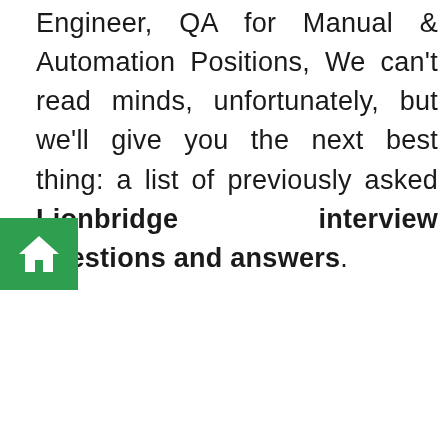Engineer, QA for Manual & Automation Positions, We can't read minds, unfortunately, but we'll give you the next best thing: a list of previously asked Lionbridge interview questions and answers.